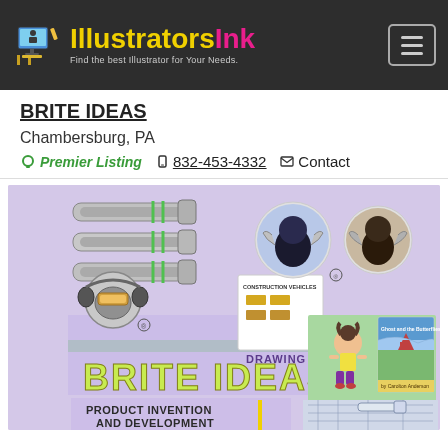IllustratorsInk - Find the best Illustrator for Your Needs.
BRITE IDEAS
Chambersburg, PA
Premier Listing  832-453-4332  Contact
[Figure (illustration): Portfolio collage for Brite Ideas showing mechanical/industrial illustration of bolts/anchors, patriotic robot mascots, construction vehicles reference sheet, drawing and illustration text, children's book cover 'Ghost and the Butterflies', cartoon girl character, product invention and development section with sketches and product renderings, blue technical drawings of hand tools]